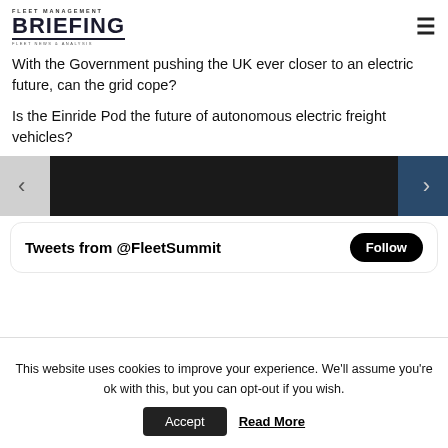FLEET MANAGEMENT BRIEFING FLEET NEWS & ANALYSIS
With the Government pushing the UK ever closer to an electric future, can the grid cope?
Is the Einride Pod the future of autonomous electric freight vehicles?
[Figure (other): Carousel navigation slider with left and right arrows on dark background with light side panels]
[Figure (screenshot): Tweets from @FleetSummit widget with Follow button]
This website uses cookies to improve your experience. We'll assume you're ok with this, but you can opt-out if you wish.